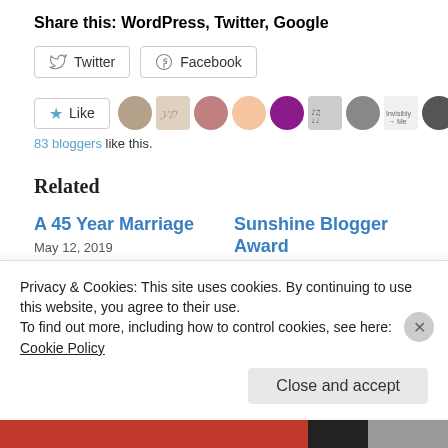Share this: WordPress, Twitter, Google
Twitter  Facebook
[Figure (screenshot): Like button with star icon and row of blogger avatars/profile pictures]
83 bloggers like this.
Related
A 45 Year Marriage
May 12, 2019
In "About Me"
Sunshine Blogger Award
Privacy & Cookies: This site uses cookies. By continuing to use this website, you agree to their use.
To find out more, including how to control cookies, see here:
Cookie Policy
Close and accept